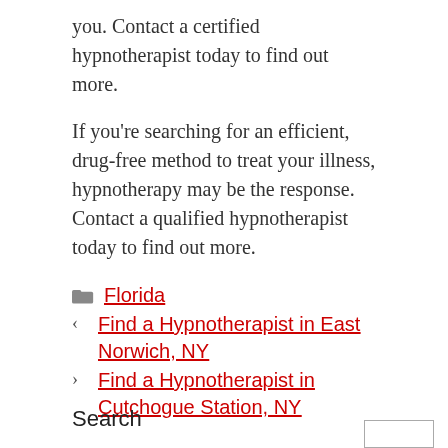you. Contact a certified hypnotherapist today to find out more.
If you’re searching for an efficient, drug-free method to treat your illness, hypnotherapy may be the response. Contact a qualified hypnotherapist today to find out more.
Florida
‹ Find a Hypnotherapist in East Norwich, NY
› Find a Hypnotherapist in Cutchogue Station, NY
Search